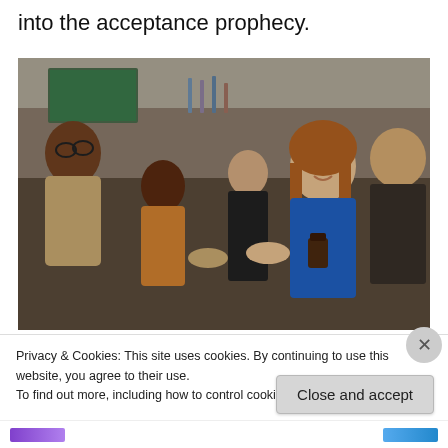into the acceptance prophecy.
[Figure (photo): Group of young professionals at a social gathering or networking event, shaking hands. A woman in a blue top with long auburn hair is shaking hands and smiling, holding a drink. A man in a dark shirt stands to her right. Other people are visible in the background at what appears to be a bar.]
Privacy & Cookies: This site uses cookies. By continuing to use this website, you agree to their use.
To find out more, including how to control cookies, see here: Cookie Policy
Close and accept